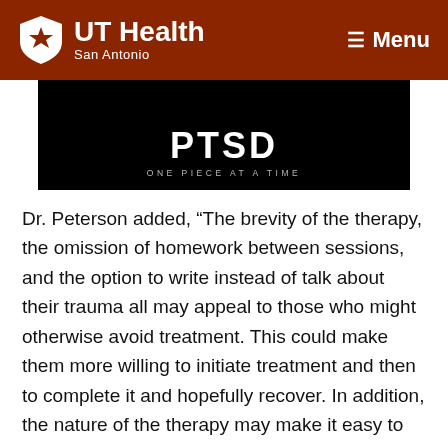UT Health San Antonio  Menu
[Figure (screenshot): Black background image with bold white text reading 'PTSD' and subtitle 'ONE PIECE AT A TIME']
Dr. Peterson added, “The brevity of the therapy, the omission of homework between sessions, and the option to write instead of talk about their trauma all may appeal to those who might otherwise avoid treatment. This could make them more willing to initiate treatment and then to complete it and hopefully recover. In addition, the nature of the therapy may make it easy to disseminate among clinicians managing heavy caseloads, since it requires less training and then